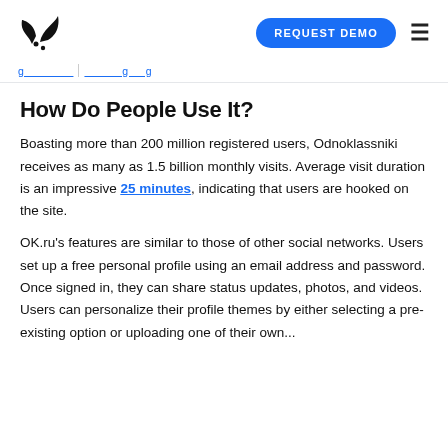REQUEST DEMO
[breadcrumb navigation links]
How Do People Use It?
Boasting more than 200 million registered users, Odnoklassniki receives as many as 1.5 billion monthly visits. Average visit duration is an impressive 25 minutes, indicating that users are hooked on the site.
OK.ru's features are similar to those of other social networks. Users set up a free personal profile using an email address and password. Once signed in, they can share status updates, photos, and videos. Users can personalize their profile themes by either selecting a pre-existing option or uploading one of their own...